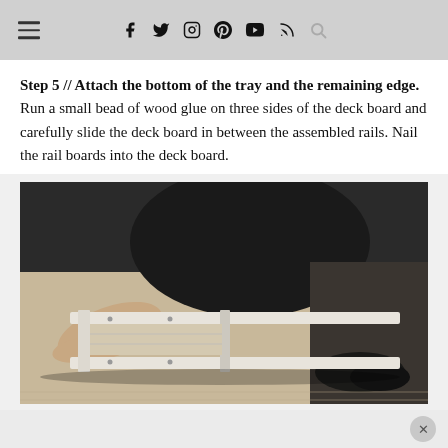≡  f  twitter  instagram  pinterest  youtube  rss  search
Step 5 // Attach the bottom of the tray and the remaining edge. Run a small bead of wood glue on three sides of the deck board and carefully slide the deck board in between the assembled rails. Nail the rail boards into the deck board.
[Figure (photo): Person kneeling on the floor assembling a wooden tray, sliding a deck board between rail boards, wearing dark clothing and shoes.]